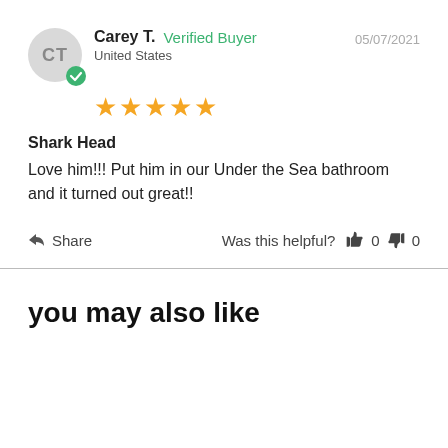Carey T.  Verified Buyer  05/07/2021  United States
[Figure (other): 5 gold stars rating]
Shark Head
Love him!!! Put him in our Under the Sea bathroom and it turned out great!!
Share   Was this helpful?  👍 0  👎 0
you may also like